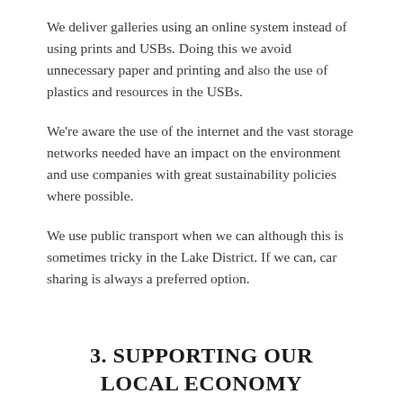We deliver galleries using an online system instead of using prints and USBs. Doing this we avoid unnecessary paper and printing and also the use of plastics and resources in the USBs.
We're aware the use of the internet and the vast storage networks needed have an impact on the environment and use companies with great sustainability policies where possible.
We use public transport when we can although this is sometimes tricky in the Lake District. If we can, car sharing is always a preferred option.
3. SUPPORTING OUR LOCAL ECONOMY
Wedding photography within the UK has